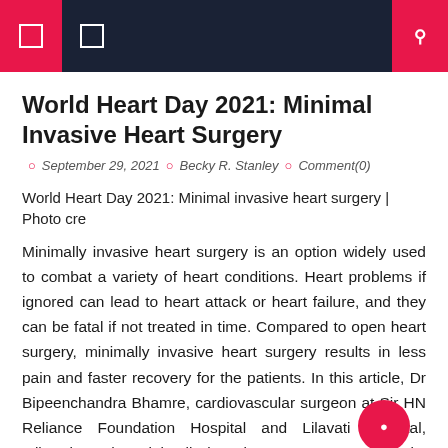World Heart Day 2021: Minimal Invasive Heart Surgery
World Heart Day 2021: Minimal Invasive Heart Surgery
September 29, 2021 | Becky R. Stanley | Comment(0)
World Heart Day 2021: Minimal invasive heart surgery | Photo cre
Minimally invasive heart surgery is an option widely used to combat a variety of heart conditions. Heart problems if ignored can lead to heart attack or heart failure, and they can be fatal if not treated in time. Compared to open heart surgery, minimally invasive heart surgery results in less pain and faster recovery for the patients. In this article, Dr Bipeenchandra Bhamre, cardiovascular surgeon at Sir HN Reliance Foundation Hospital and Lilavati Hospital, talks about the minimally invasive surgery procedure, its benefits, and